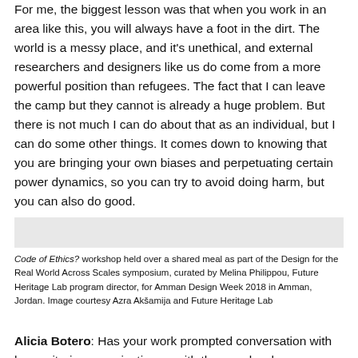For me, the biggest lesson was that when you work in an area like this, you will always have a foot in the dirt. The world is a messy place, and it's unethical, and external researchers and designers like us do come from a more powerful position than refugees. The fact that I can leave the camp but they cannot is already a huge problem. But there is not much I can do about that as an individual, but I can do some other things. It comes down to knowing that you are bringing your own biases and perpetuating certain power dynamics, so you can try to avoid doing harm, but you can also do good.
[Figure (photo): Gray placeholder image block representing a photograph from the Code of Ethics? workshop]
Code of Ethics? workshop held over a shared meal as part of the Design for the Real World Across Scales symposium, curated by Melina Philippou, Future Heritage Lab program director, for Amman Design Week 2018 in Amman, Jordan. Image courtesy Azra Akšamija and Future Heritage Lab
Alicia Botero: Has your work prompted conversation with humanitarian organizations—with the people who are